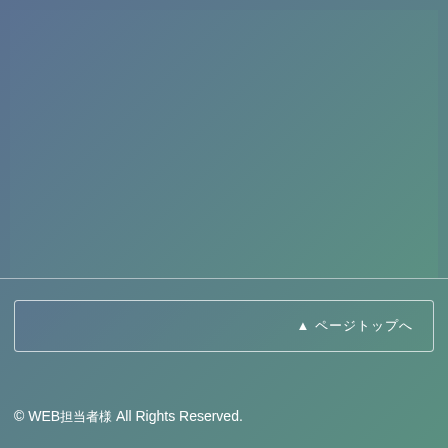[Figure (other): Large gradient content area with blue-green gradient background, rectangular block spanning upper portion of page]
▲ ページトップへ
© WEB担当者様 All Rights Reserved.